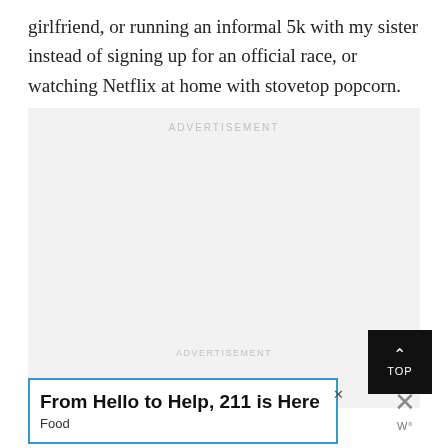girlfriend, or running an informal 5k with my sister instead of signing up for an official race, or watching Netflix at home with stovetop popcorn.
[Figure (other): Advertisement placeholder box with 'ADVERTISEMENT' label in light gray text, light gray background. Contains a secondary gray 'ADVERTISEMENT' label near the bottom center.]
[Figure (other): Black 'TOP' button with upward chevron arrow, used for scrolling back to top of page.]
[Figure (other): Banner advertisement with blue border showing text 'From Hello to Help, 211 is Here' in bold with 'Food' subtitle. Close button (X) visible top right of ad. Right side shows X icon and weather degree symbol.]